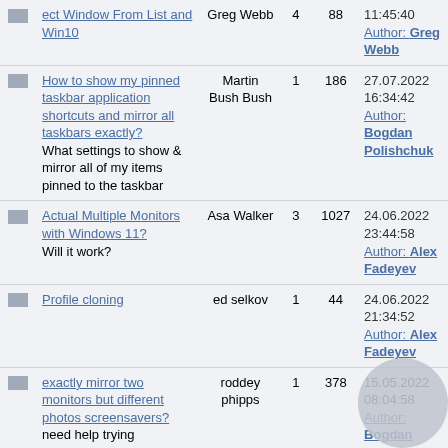|  | Topic | Author | Replies | Views | Last Post |
| --- | --- | --- | --- | --- | --- |
| [icon] | ect Window From List and Win10 | Greg Webb | 4 | 88 | 11:45:40
Author: Greg Webb |
| [icon] | How to show my pinned taskbar application shortcuts and mirror all taskbars exactly?
What settings to show & mirror all of my items pinned to the taskbar | Martin Bush Bush | 1 | 186 | 27.07.2022 16:34:42
Author: Bogdan Polishchuk |
| [icon] | Actual Multiple Monitors with Windows 11?
Will it work? | Asa Walker | 3 | 1027 | 24.06.2022 23:44:58
Author: Alex Fadeyev |
| [icon] | Profile cloning | ed selkov | 1 | 44 | 24.06.2022 21:34:52
Author: Alex Fadeyev |
| [icon] | exactly mirror two monitors but different photos screensavers?
need help trying | roddey phipps | 1 | 378 | 15.05.2022 08:04:58
Author: Bogdan |